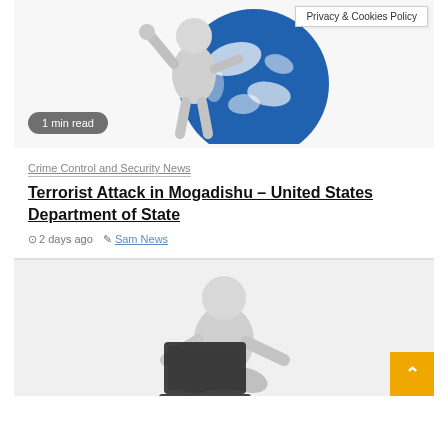[Figure (illustration): 3D white figure holding a globe, with Privacy & Cookies Policy badge overlay and 1 min read badge]
Privacy & Cookies Policy
1 min read
Crime Control and Security News
Terrorist Attack in Mogadishu – United States Department of State
2 days ago   Sam News
[Figure (illustration): 3D white figure sitting and using a laptop computer]